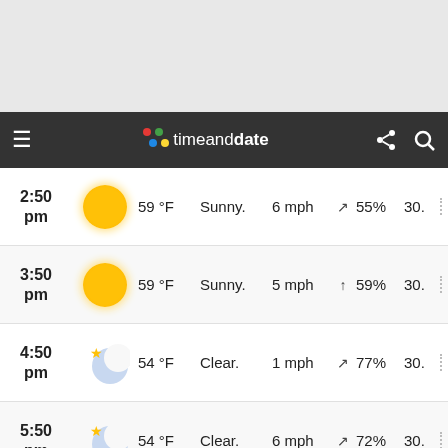[Figure (screenshot): timeanddate.com navigation bar with hamburger menu, logo, share and search icons on dark background]
| Time | Icon | Temp | Condition | Wind | Dir | Humidity | Pressure |
| --- | --- | --- | --- | --- | --- | --- | --- |
| 2:50 pm | Sunny | 59 °F | Sunny. | 6 mph | ↗ | 55% | 30. |
| 3:50 pm | Sunny | 59 °F | Sunny. | 5 mph | ↑ | 59% | 30. |
| 4:50 pm | Clear night | 54 °F | Clear. | 1 mph | ↗ | 77% | 30. |
| 5:50 pm | Clear night | 54 °F | Clear. | 6 mph | ↗ | 72% | 30. |
| 6:50 pm | Clear night | 52 °F | Clear. | 5 mph | ↗ | 82% | 30. |
| 7:50 pm | Clear night | 48 °F | Clear. | 5 mph | ↗ | 87% | 29. |
| 8:50 | Clear night |  |  |  |  |  |  |